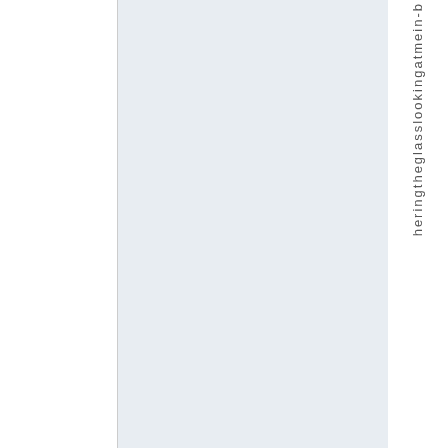[Figure (other): Page layout with white left panel, blue-grey center panel, and vertical text on the right reading 'heringtheglasslookingat-me in-b' partially visible]
heringttheglasslookingatmein-b